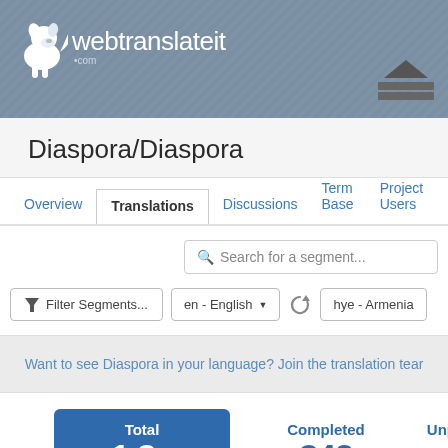webtranslateit.com
Diaspora/Diaspora
Overview  Translations  Discussions  Term Base  Project Users
Search for a segment...
Filter Segments...  en - English  hye - Armenia
Want to see Diaspora in your language? Join the translation team
| Total | Completed | Unproof |
| --- | --- | --- |
| 1,360 | 342 |  |